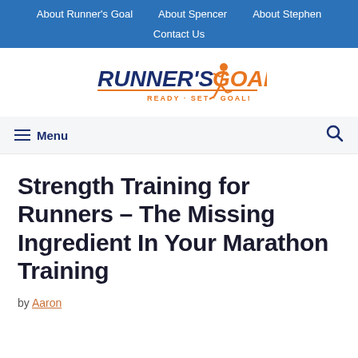About Runner's Goal   About Spencer   About Stephen   Contact Us
[Figure (logo): Runner's Goal logo with orange running figure and text 'RUNNER'S GOAL - READY · SET · GOAL!']
≡ Menu
Strength Training for Runners – The Missing Ingredient In Your Marathon Training
by Aaron